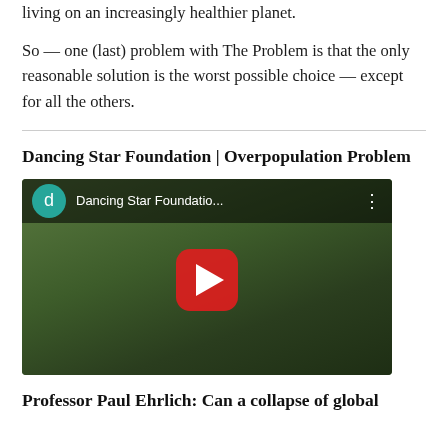living on an increasingly healthier planet.
So — one (last) problem with The Problem is that the only reasonable solution is the worst possible choice — except for all the others.
Dancing Star Foundation | Overpopulation Problem
[Figure (screenshot): YouTube video thumbnail showing a man in dark clothing with tropical foliage background, with a YouTube play button overlay and channel name 'Dancing Star Foundatio...' in the top bar with a teal circular avatar showing 'd']
Professor Paul Ehrlich: Can a collapse of global